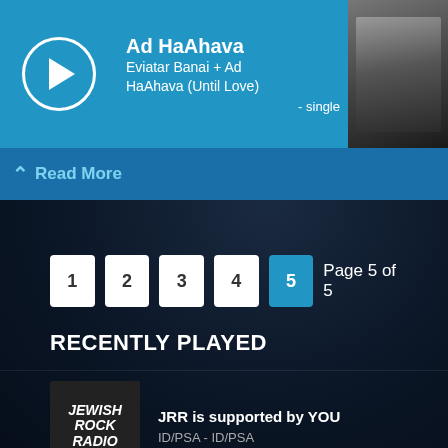jewish organization on campus. The vast majority of our operating budget comes from your dues. You hold a share in what goes on, and we...
[Figure (screenshot): Music player bar showing 'Ad HaAhava' by Eviatar Banai + Ad HaAhava (Until Love) - single, with play button and album art]
Read More
Page 5 of 5
RECENTLY PLAYED
JRR is supported by YOU
ID/PSA - ID/PSA
Jewish Women Rock Block Promo (Abbie Strauss)
ID/PSA - ID/PSA